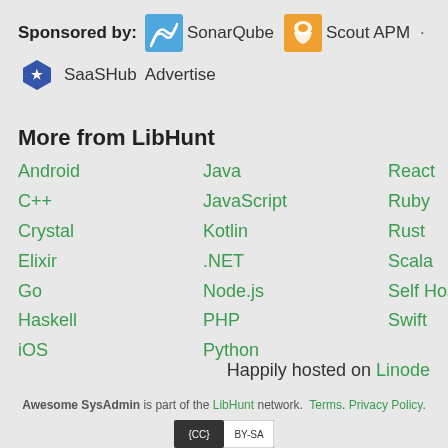Sponsored by: SonarQube · Scout APM · SaaSHub Advertise
More from LibHunt
Android
C++
Crystal
Elixir
Go
Haskell
iOS
Java
JavaScript
Kotlin
.NET
Node.js
PHP
Python
React
Ruby
Rust
Scala
Self Hosted
Swift
Happily hosted on Linode
Awesome SysAdmin is part of the LibHunt network. Terms. Privacy Policy.
[Figure (logo): Creative Commons BY-SA license badge]